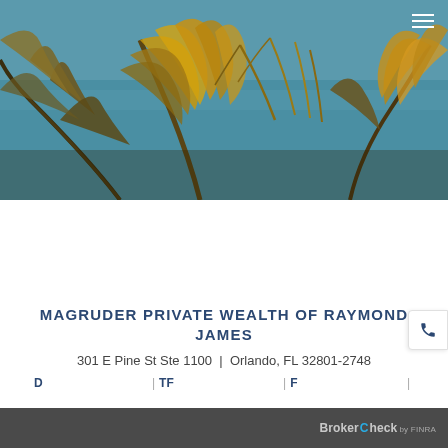[Figure (photo): Hero photo of palm trees with teal ocean water in the background, golden tones, tropical scene]
MAGRUDER PRIVATE WEALTH OF RAYMOND JAMES
301 E Pine St Ste 1100  |  Orlando, FL 32801-2748
D  |  TF  |  F  |
BrokerCheck